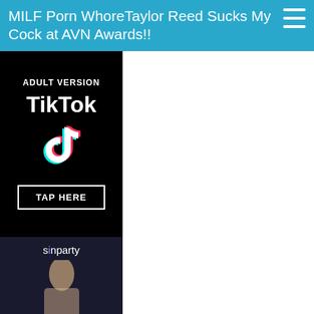MILF Porn WhoreTaylor Reed Sucks My Cock at AVN Awards!!
[Figure (illustration): Adult TikTok advertisement banner with black background showing 'ADULT VERSION', 'TikTok' text, TikTok logo icon, and 'TAP HERE' button]
[Figure (illustration): Sinparty advertisement banner showing 'sinparty' logo text with a figure below it]